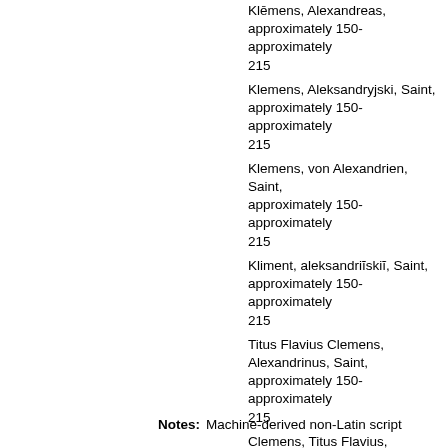Klēmens, Alexandreas, approximately 150-approximately 215
Klemens, Aleksandryjski, Saint, approximately 150-approximately 215
Klemens, von Alexandrien, Saint, approximately 150-approximately 215
Kliment, aleksandriĭskiĭ, Saint, approximately 150-approximately 215
Titus Flavius Clemens, Alexandrinus, Saint, approximately 150-approximately 215
Clemens, Titus Flavius, Alexandrinus, Saint, approximately 150-approximately 215
Clemens, Titus Flavius, Alexandrinus
Clement, of Alexandria, Saint, ca. 150-approximately 215
Notes: Machine-derived non-Latin script